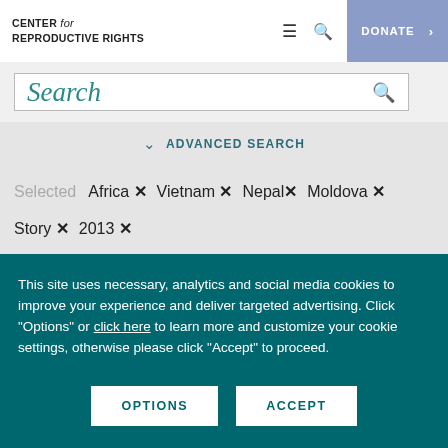CENTER for REPRODUCTIVE RIGHTS
Search
ADVANCED SEARCH
Selected  Africa ×  Vietnam ×  Nepal ×  Moldova ×  Story ×  2013 ×
This site uses necessary, analytics and social media cookies to improve your experience and deliver targeted advertising. Click "Options" or click here to learn more and customize your cookie settings, otherwise please click "Accept" to proceed.
OPTIONS
ACCEPT